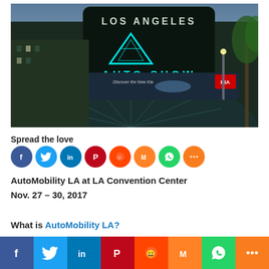[Figure (photo): Exterior night photo of the Los Angeles Convention Center with large LED display showing 'LOS ANGELES AUTO SHOW' logo and a Kia advertisement banner below it. A palm tree is visible on the right side.]
Spread the love
[Figure (infographic): Row of social media sharing buttons: Facebook (blue), Twitter (light blue), LinkedIn (dark blue), Pinterest (red), Reddit (orange-red), Mix (orange), WhatsApp (green), Share (orange)]
AutoMobility LA at LA Convention Center
Nov. 27 – 30, 2017
What is AutoMobility LA?
[Figure (infographic): Bottom sticky bar with social sharing buttons: Facebook (blue), Twitter (light blue), LinkedIn (dark blue), Pinterest (red), Reddit (orange-red), Mix (orange), WhatsApp (green), Share (orange)]